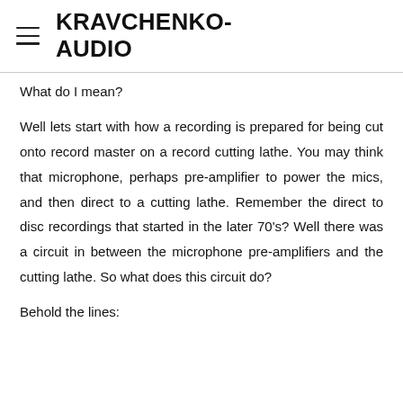KRAVCHENKO-AUDIO
What do I mean?
Well lets start with how a recording is prepared for being cut onto record master on a record cutting lathe. You may think that microphone, perhaps pre-amplifier to power the mics, and then direct to a cutting lathe. Remember the direct to disc recordings that started in the later 70's? Well there was a circuit in between the microphone pre-amplifiers and the cutting lathe. So what does this circuit do?
Behold the lines: